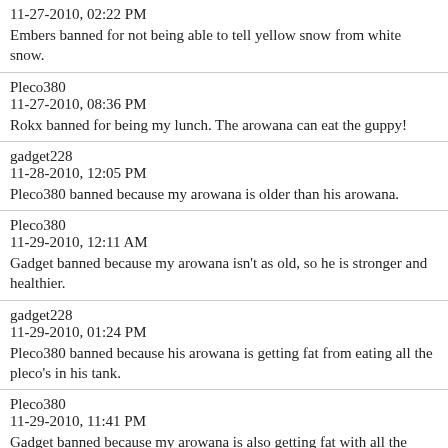11-27-2010, 02:22 PM
Embers banned for not being able to tell yellow snow from white snow.
Pleco380
11-27-2010, 08:36 PM
Rokx banned for being my lunch. The arowana can eat the guppy!
gadget228
11-28-2010, 12:05 PM
Pleco380 banned because my arowana is older than his arowana.
Pleco380
11-29-2010, 12:11 AM
Gadget banned because my arowana isn't as old, so he is stronger and healthier.
gadget228
11-29-2010, 01:24 PM
Pleco380 banned because his arowana is getting fat from eating all the pleco's in his tank.
Pleco380
11-29-2010, 11:41 PM
Gadget banned because my arowana is also getting fat with all the